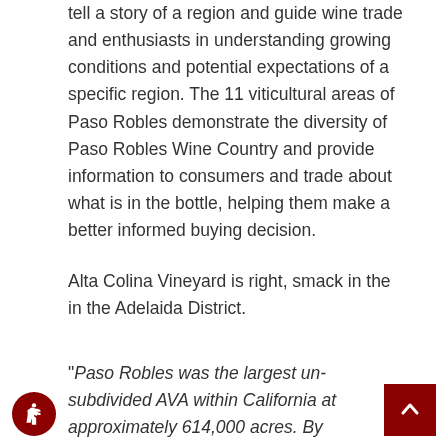tell a story of a region and guide wine trade and enthusiasts in understanding growing conditions and potential expectations of a specific region. The 11 viticultural areas of Paso Robles demonstrate the diversity of Paso Robles Wine Country and provide information to consumers and trade about what is in the bottle, helping them make a better informed buying decision.
Alta Colina Vineyard is right, smack in the in the Adelaida District.
"Paso Robles was the largest un-subdivided AVA within California at approximately 614,000 acres. By